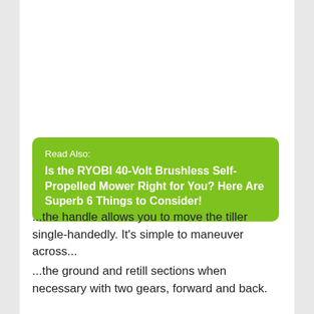Read Also:
Is the RYOBI 40-Volt Brushless Self-Propelled Mower Right for You? Here Are Superb 6 Things to Consider!
...the handle allows you to move the tiller single-handedly. It's simple to maneuver across...
...the ground and retill sections when necessary with two gears, forward and back.